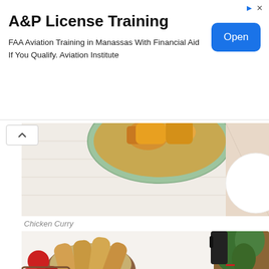[Figure (other): Advertisement banner for A&P License Training. FAA Aviation Training in Manassas With Financial Aid If You Qualify. Aviation Institute. Blue 'Open' button on right.]
[Figure (photo): Partial top image showing a bowl of Chicken Curry with squash/pumpkin chunks in a green bowl on a white wooden table, with a cloth in background.]
Chicken Curry
[Figure (photo): Food photography of Vietnamese chicken curry dish in a white bowl, accompanied by baguette bread in a wicker basket, fresh tomatoes, herbs, chopsticks, and condiments on a white table.]